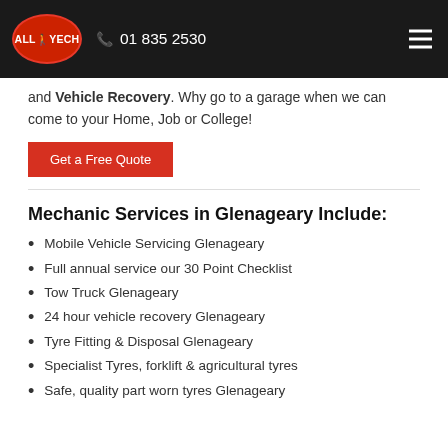ALL-TECH | 01 835 2530
and Vehicle Recovery. Why go to a garage when we can come to your Home, Job or College!
Get a Free Quote
Mechanic Services in Glenageary Include:
Mobile Vehicle Servicing Glenageary
Full annual service our 30 Point Checklist
Tow Truck Glenageary
24 hour vehicle recovery Glenageary
Tyre Fitting & Disposal Glenageary
Specialist Tyres, forklift & agricultural tyres
Safe, quality part worn tyres Glenageary